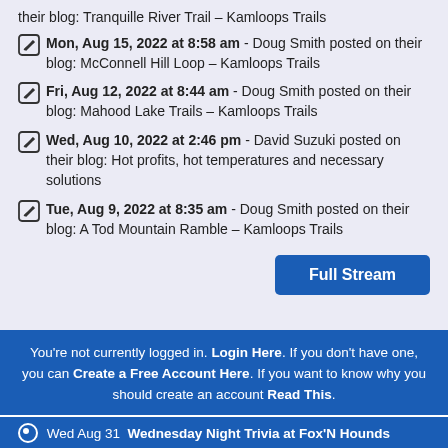their blog: Tranquille River Trail – Kamloops Trails
Mon, Aug 15, 2022 at 8:58 am - Doug Smith posted on their blog: McConnell Hill Loop – Kamloops Trails
Fri, Aug 12, 2022 at 8:44 am - Doug Smith posted on their blog: Mahood Lake Trails – Kamloops Trails
Wed, Aug 10, 2022 at 2:46 pm - David Suzuki posted on their blog: Hot profits, hot temperatures and necessary solutions
Tue, Aug 9, 2022 at 8:35 am - Doug Smith posted on their blog: A Tod Mountain Ramble – Kamloops Trails
Full Stream
You're not currently logged in. Login Here. If you don't have one, you can Create a Free Account Here. If you want to know why you should create an account Read This.
Wed Aug 31 Wednesday Night Trivia at Fox'N Hounds